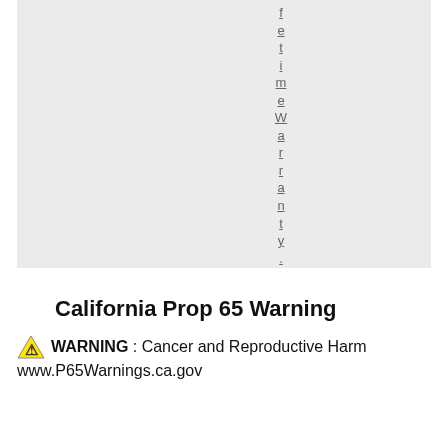[Figure (other): Gray background box containing vertical rotated text spelling 'fetimeWarranty.' with underline styling, displayed character by character vertically]
California Prop 65 Warning
⚠ WARNING : Cancer and Reproductive Harm
www.P65Warnings.ca.gov